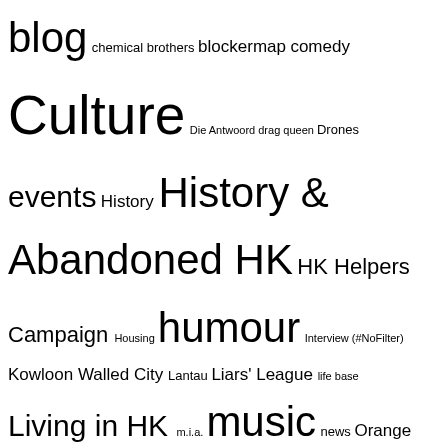blog chemical brothers blockermap comedy Culture Die Antwoord drag queen Drones events History History & Abandoned HK HK Helpers Campaign Housing humour Interview (#NoFilter) Kowloon Walled City Lantau Liars' League life base Living in HK m.i.a. music news Orange Peel photography Photography & Wallpapers pillow fight day Places & Attractions pokemon go racism shi fu miz Shut Up and Take My Money Sonar Festival Tung Ping Chau Victoria Harbour video Weather WTF Licence Plates
Search
Search for:
[Figure (screenshot): Social media share buttons: Facebook, Twitter, Reddit, LinkedIn, Google+, WhatsApp with 0 counts. About Hong Kong and Hong Kong Free Press labels visible.]